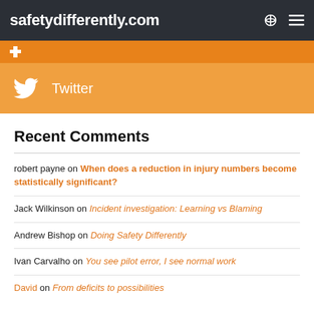safetydifferently.com
[Figure (screenshot): Orange Facebook social bar (partially visible)]
[Figure (screenshot): Orange/yellow Twitter social bar with bird icon and 'Twitter' text]
Recent Comments
robert payne on When does a reduction in injury numbers become statistically significant?
Jack Wilkinson on Incident investigation: Learning vs Blaming
Andrew Bishop on Doing Safety Differently
Ivan Carvalho on You see pilot error, I see normal work
David on From deficits to possibilities